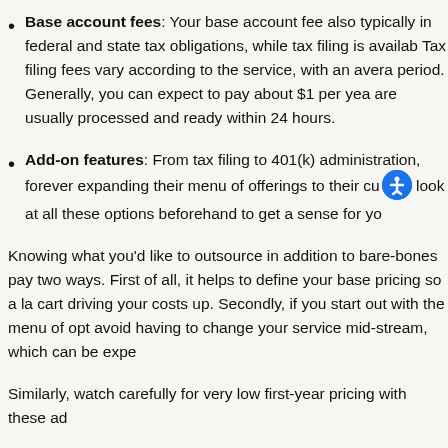Base account fees: Your base account fee also typically in federal and state tax obligations, while tax filing is availab Tax filing fees vary according to the service, with an avera period. Generally, you can expect to pay about $1 per yea are usually processed and ready within 24 hours.
Add-on features: From tax filing to 401(k) administration, forever expanding their menu of offerings to their cu look at all these options beforehand to get a sense for yo
Knowing what you'd like to outsource in addition to bare-bones pay two ways. First of all, it helps to define your base pricing so a la cart driving your costs up. Secondly, if you start out with the menu of opt avoid having to change your service mid-stream, which can be expe
Similarly, watch carefully for very low first-year pricing with these ad